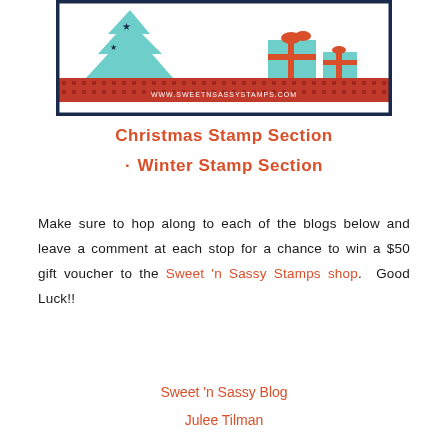[Figure (illustration): Christmas/holiday themed banner illustration showing a decorated Christmas tree with stars, wrapped gift boxes, and a decorative red patterned border at the bottom with the URL www.sweetnsassystamps.com. Dark navy blue border frame around the whole image.]
Christmas Stamp Section
· Winter Stamp Section
Make sure to hop along to each of the blogs below and leave a comment at each stop for a chance to win a $50 gift voucher to the Sweet 'n Sassy Stamps shop.  Good Luck!!
Sweet 'n Sassy Blog
Julee Tilman